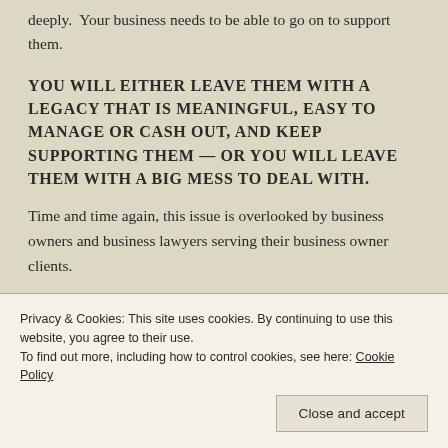deeply. Your business needs to be able to go on to support them.
YOU WILL EITHER LEAVE THEM WITH A LEGACY THAT IS MEANINGFUL, EASY TO MANAGE OR CASH OUT, AND KEEP SUPPORTING THEM — OR YOU WILL LEAVE THEM WITH A BIG MESS TO DEAL WITH.
Time and time again, this issue is overlooked by business owners and business lawyers serving their business owner clients.
Privacy & Cookies: This site uses cookies. By continuing to use this website, you agree to their use.
To find out more, including how to control cookies, see here: Cookie Policy
Close and accept